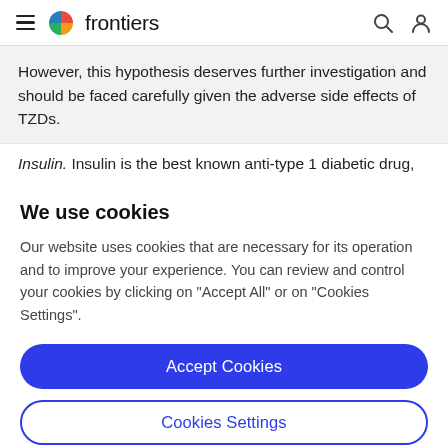frontiers
However, this hypothesis deserves further investigation and should be faced carefully given the adverse side effects of TZDs.
Insulin. Insulin is the best known anti-type 1 diabetic drug,
We use cookies
Our website uses cookies that are necessary for its operation and to improve your experience. You can review and control your cookies by clicking on "Accept All" or on "Cookies Settings".
Accept Cookies
Cookies Settings